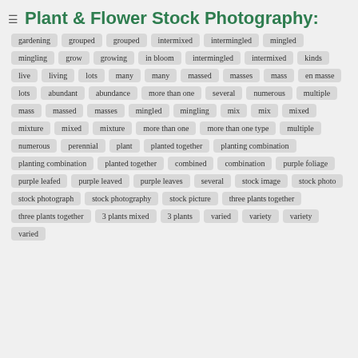Plant & Flower Stock Photography:
gardening
grouped
grouped
intermixed
intermingled
mingled
mingling
grow
growing
in bloom
intermingled
intermixed
kinds
live
living
lots
many
many
massed
masses
mass
en masse
lots
abundant
abundance
more than one
several
numerous
multiple
mass
massed
masses
mingled
mingling
mix
mix
mixed
mixture
mixed
mixture
more than one
more than one type
multiple
numerous
perennial
plant
planted together
planting combination
planting combination
planted together
combined
combination
purple foliage
purple leafed
purple leaved
purple leaves
several
stock image
stock photo
stock photograph
stock photography
stock picture
three plants together
three plants together
3 plants mixed
3 plants
varied
variety
variety
varied